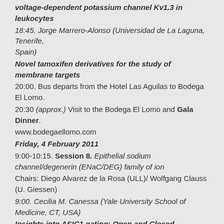voltage-dependent potassium channel Kv1.3 in leukocytes
18:45. Jorge Marrero-Alonso (Universidad de La Laguna, Tenerife, Spain)
Novel tamoxifen derivatives for the study of membrane targets
20:00. Bus departs from the Hotel Las Aguilas to Bodega El Lomo.
20:30 (approx.) Visit to the Bodega El Lomo and Gala Dinner.
www.bodegaellomo.com
Friday, 4 February 2011
9:00-10:15. Session 8. Epithelial sodium channel/degenerin (ENaC/DEG) family of ion
Chairs: Diego Alvarez de la Rosa (ULL)/ Wolfgang Clauss (U. Giessen)
9:00. Cecilia M. Canessa (Yale University School of Medicine, CT, USA)
Insights into ASIC1 gating: Open and Closed conformations of the ion pore
9:15. Xavier Gasull (Universitat de Barcelona,